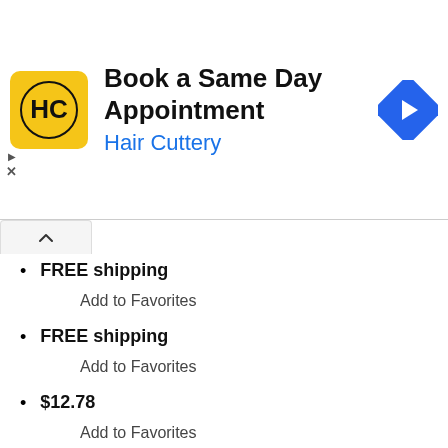[Figure (screenshot): Hair Cuttery advertisement banner: yellow square logo with HC monogram, text 'Book a Same Day Appointment' and 'Hair Cuttery' in blue, blue diamond arrow icon on right, ad controls (play/close) on left side.]
FREE shipping
Add to Favorites
FREE shipping
Add to Favorites
$12.78
Add to Favorites
Etsys Pick  Add to Favorites
$38.00 Original Price $38.00